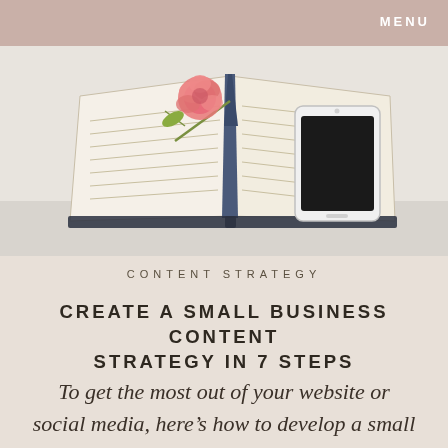MENU
[Figure (photo): Open notebook/journal with an open book, a pink peony rose, and a white smartphone resting on top, on a light gray surface]
CONTENT STRATEGY
CREATE A SMALL BUSINESS CONTENT STRATEGY IN 7 STEPS
To get the most out of your website or social media, here's how to develop a small business content strategy